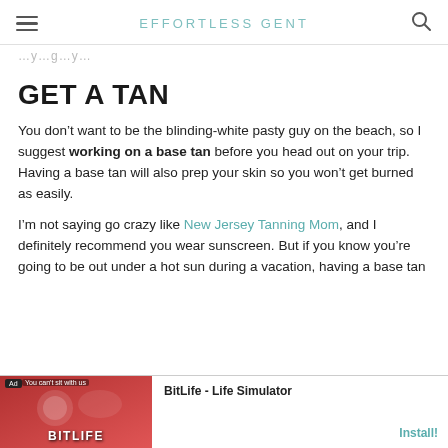EFFORTLESS GENT
…y…g…y…
GET A TAN
You don’t want to be the blinding-white pasty guy on the beach, so I suggest working on a base tan before you head out on your trip. Having a base tan will also prep your skin so you won’t get burned as easily.
I’m not saying go crazy like New Jersey Tanning Mom, and I definitely recommend you wear sunscreen. But if you know you’re going to be out under a hot sun during a vacation, having a base tan
[Figure (screenshot): Advertisement banner for BitLife - Life Simulator app with red background and install button]